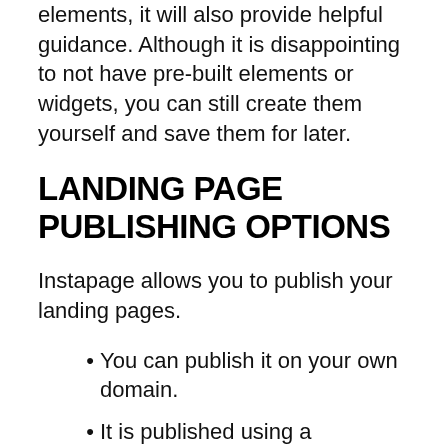elements, it will also provide helpful guidance. Although it is disappointing to not have pre-built elements or widgets, you can still create them yourself and save them for later.
LANDING PAGE PUBLISHING OPTIONS
Instapage allows you to publish your landing pages.
You can publish it on your own domain.
It is published using a WordPress plugin.